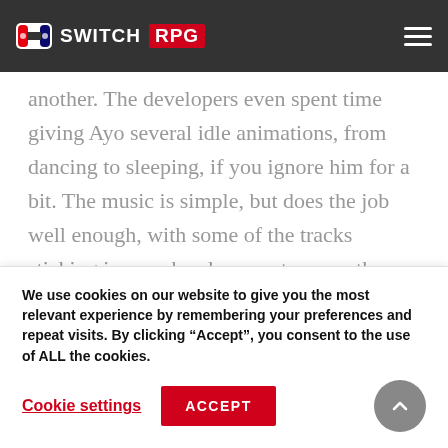SWITCH RPG
another. The developers even spent time giving Ayo several idle animations, from dancing to sleeping, if you ignore him for a bit. The music is simple, but does the job well enough, with some of the tracks sticking in your head as you traverse the levels.
[Figure (photo): Colorful horizontal image strip showing game screenshot with brown, blue, purple and dark tones]
We use cookies on our website to give you the most relevant experience by remembering your preferences and repeat visits. By clicking “Accept”, you consent to the use of ALL the cookies.
Cookie settings    ACCEPT